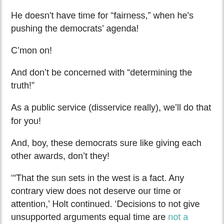He doesn't have time for “fairness,” when he's pushing the democrats’ agenda!
C’mon on!
And don’t be concerned with “determining the truth!”
As a public service (disservice really), we’ll do that for you!
And, boy, these democrats sure like giving each other awards, don’t they!
‘“That the sun sets in the west is a fact. Any contrary view does not deserve our time or attention,’ Holt continued. ‘Decisions to not give unsupported arguments equal time are not a dereliction of journalistic responsibility or some